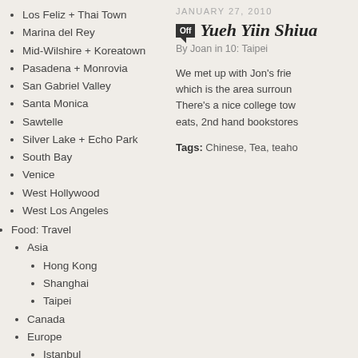Los Feliz + Thai Town
Marina del Rey
Mid-Wilshire + Koreatown
Pasadena + Monrovia
San Gabriel Valley
Santa Monica
Sawtelle
Silver Lake + Echo Park
South Bay
Venice
West Hollywood
West Los Angeles
Food: Travel
Asia
Hong Kong
Shanghai
Taipei
Canada
Europe
Istanbul
Paris
Prague
Vienna
Mexico
US
JANUARY 27, 2010
Yueh Yiin Shiua
By Joan in 10: Taipei
We met up with Jon’s frie which is the area surroun There’s a nice college tow eats, 2nd hand bookstores
Tags: Chinese, Tea, teaho